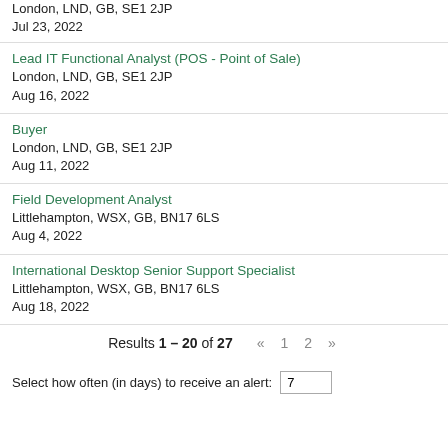London, LND, GB, SE1 2JP
Jul 23, 2022
Lead IT Functional Analyst (POS - Point of Sale)
London, LND, GB, SE1 2JP
Aug 16, 2022
Buyer
London, LND, GB, SE1 2JP
Aug 11, 2022
Field Development Analyst
Littlehampton, WSX, GB, BN17 6LS
Aug 4, 2022
International Desktop Senior Support Specialist
Littlehampton, WSX, GB, BN17 6LS
Aug 18, 2022
Results 1 – 20 of 27
« 1 2 »
Select how often (in days) to receive an alert: 7